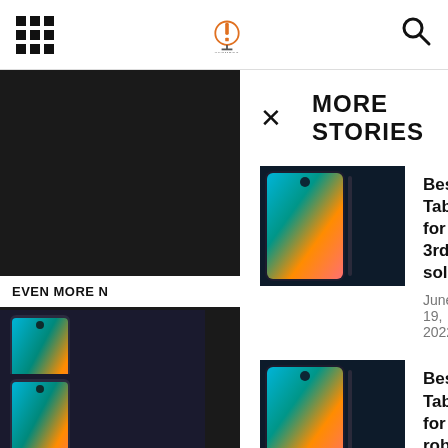Navigation header with grid menu icon, logo, and search icon
MORE STORIES
Best Tablet for 3rd solo — June 19, 2022
Best Tablet for roblox — May 24, 2022
Best Tablet for photographers 2016 — June 27, 2022
EVEN MORE N...